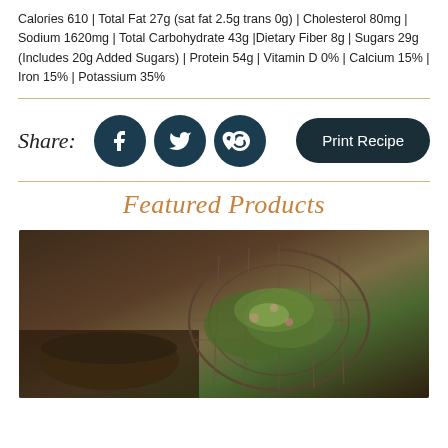Calories 610 | Total Fat 27g (sat fat 2.5g trans 0g) | Cholesterol 80mg | Sodium 1620mg | Total Carbohydrate 43g |Dietary Fiber 8g | Sugars 29g (Includes 20g Added Sugars) | Protein 54g | Vitamin D 0% | Calcium 15% | Iron 15% | Potassium 35%
Share:
[Figure (infographic): Social share buttons: Facebook, Twitter, Pinterest circles (dark teal), and a Print Recipe pill button (dark navy)]
Featured Products
[Figure (photo): A rustic photo of a wire basket filled with fresh green salad/vegetables on a wooden surface with a dark plate nearby]